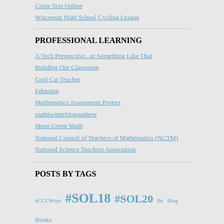Crisis Text Online
Wisconsin High School Cycling League
PROFESSIONAL LEARNING
A Tech Perspective...or Something Like That
Building Our Classroom
Cool Cat Teacher
Edutopia
Mathematics Assessment Project
mathtwitterblogosphere
Mean Green Math
National Council of Teachers of Mathematics (NCTM)
National Science Teachers Association
POSTS BY TAGS
#CCCWrite #SOL18 #SOL20 Be Blog Books change Citizen Community conference Create Digital